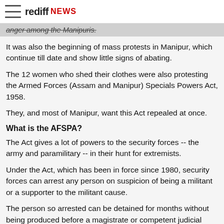rediff NEWS
anger among the Manipuris.
It was also the beginning of mass protests in Manipur, which continue till date and show little signs of abating.
The 12 women who shed their clothes were also protesting the Armed Forces (Assam and Manipur) Specials Powers Act, 1958.
They, and most of Manipur, want this Act repealed at once.
What is the AFSPA?
The Act gives a lot of powers to the security forces -- the army and paramilitary -- in their hunt for extremists.
Under the Act, which has been in force since 1980, security forces can arrest any person on suspicion of being a militant or a supporter to the militant cause.
The person so arrested can be detained for months without being produced before a magistrate or competent judicial authority.